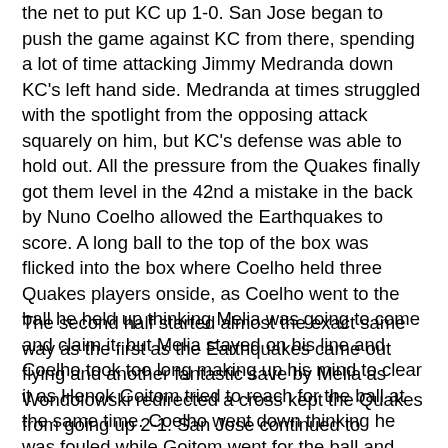the net to put KC up 1-0. San Jose began to push the game against KC from there, spending a lot of time attacking Jimmy Medranda down KC's left hand side. Medranda at times struggled with the spotlight from the opposing attack squarely on him, but KC's defense was able to hold out. All the pressure from the Quakes finally got them level in the 42nd a mistake in the back by Nuno Coelho allowed the Earthquakes to score. A long ball to the top of the box was flicked into the box where Coelho held three Quakes players onside, as Coelho went to the ball he held up thinking Melia was going to come and claim it, but Melia stayed on his line and Coelho took too long making up his mind to clear it as Henok Goitom tried to reach for the ball at the same time. Coelho went down thinking he was fouled while Goitom went for the ball and back heeled it into the path of Simon Dawkins who easily beat Melia to tie the game at 1-1 as the teams headed into the half.
The second half started almost the exact same way as the first as the Earthquakes came out flying and another fantastic save by Melia as Wondolowski redirected a cross kept the Quakes from going up 2-1. San Jose continued to